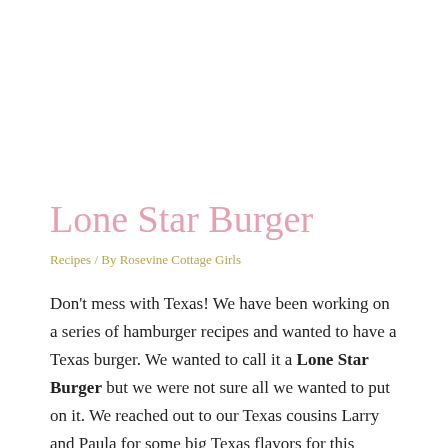Lone Star Burger
Recipes / By Rosevine Cottage Girls
Don't mess with Texas! We have been working on a series of hamburger recipes and wanted to have a Texas burger. We wanted to call it a Lone Star Burger but we were not sure all we wanted to put on it. We reached out to our Texas cousins Larry and Paula for some big Texas flavors for this burger. We packed our Lone Star Burger with some sweet BBQ'd pulled pork, fried jalapenos, crispy onions, Ortega chilies, pepper jack cheese, and